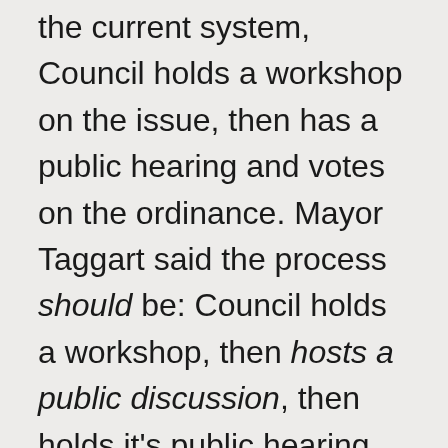the current system, Council holds a workshop on the issue, then has a public hearing and votes on the ordinance. Mayor Taggart said the process should be: Council holds a workshop, then hosts a public discussion, then holds it's public hearing and a takes a vote.
The corrected system, with a hearing devoted solely to public discussion about the issue at hand, would have